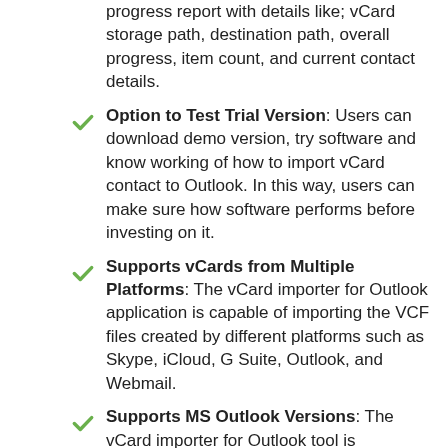progress report with details like; vCard storage path, destination path, overall progress, item count, and current contact details.
Option to Test Trial Version: Users can download demo version, try software and know working of how to import vCard contact to Outlook. In this way, users can make sure how software performs before investing on it.
Supports vCards from Multiple Platforms: The vCard importer for Outlook application is capable of importing the VCF files created by different platforms such as Skype, iCloud, G Suite, Outlook, and Webmail.
Supports MS Outlook Versions: The vCard importer for Outlook tool is compatible with MS Outlook 2019, 2016, 2013, 2010, and its below versions. Outlook must be installed and configured properly on the user's